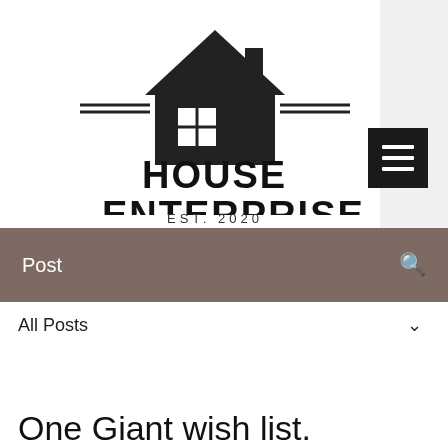[Figure (logo): House Enterprise logo with house icon, double horizontal lines, bold text 'HOUSE ENTERPRISE' and 'EST. 2020']
[Figure (other): Black hamburger menu button with three white horizontal bars]
Post
All Posts ∨
Will Tondo 👑  Mar 15, 2021  ·  5 min
One Giant wish list.